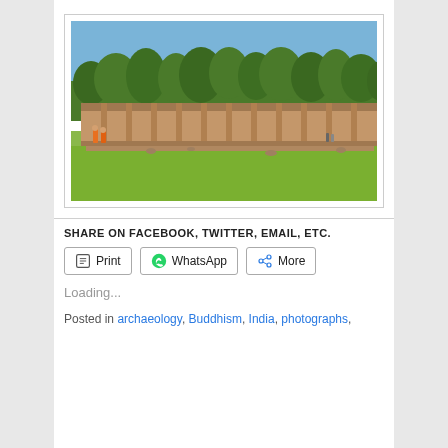[Figure (photo): Archaeological site with ancient ruins of a long low stone building, green grass in foreground, trees in background, blue sky. People in orange clothing visible on the left.]
SHARE ON FACEBOOK, TWITTER, EMAIL, ETC.
Print  WhatsApp  More
Loading...
Posted in archaeology, Buddhism, India, photographs,